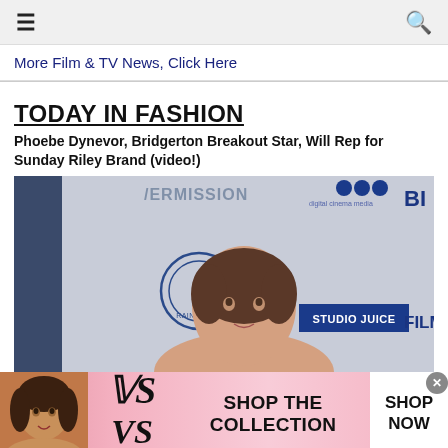≡  🔍
More Film & TV News, Click Here
TODAY IN FASHION
Phoebe Dynevor, Bridgerton Breakout Star, Will Rep for Sunday Riley Brand (video!)
[Figure (photo): Phoebe Dynevor posing at a Raindance Film Festival red carpet event with STUDIO JUICE and FILM4 sponsor logos visible in the background]
[Figure (infographic): Victoria's Secret advertisement banner showing a model, the VS logo with VICTORIA'S SECRET text, 'SHOP THE COLLECTION' text, and a 'SHOP NOW' call-to-action button]